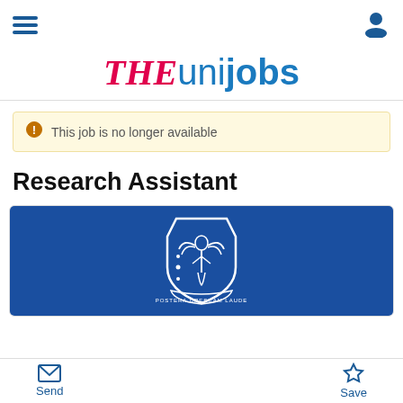Navigation menu and user icon
THEunijobs
This job is no longer available
Research Assistant
[Figure (logo): University crest on blue background with text POSTERA CRESCAM LAUDE, featuring a winged figure holding items, with stars below]
Send   Save